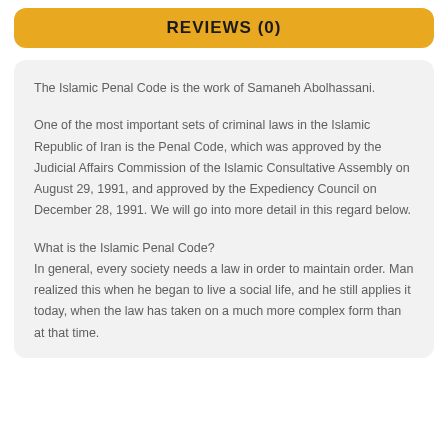REVIEWS (0)
The Islamic Penal Code is the work of Samaneh Abolhassani.
One of the most important sets of criminal laws in the Islamic Republic of Iran is the Penal Code, which was approved by the Judicial Affairs Commission of the Islamic Consultative Assembly on August 29, 1991, and approved by the Expediency Council on December 28, 1991. We will go into more detail in this regard below.
What is the Islamic Penal Code?
In general, every society needs a law in order to maintain order. Man realized this when he began to live a social life, and he still applies it today, when the law has taken on a much more complex form than at that time.